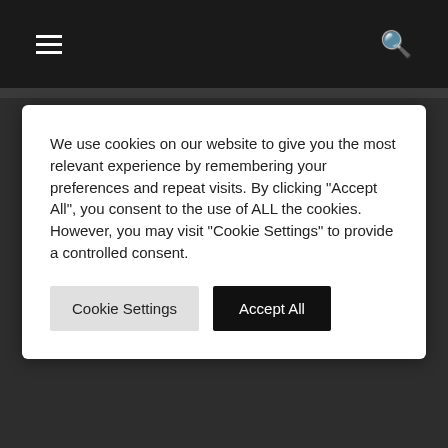[Figure (screenshot): Dark top navigation bar with hamburger menu icon on left and search icon on right]
We use cookies on our website to give you the most relevant experience by remembering your preferences and repeat visits. By clicking "Accept All", you consent to the use of ALL the cookies. However, you may visit "Cookie Settings" to provide a controlled consent.
Cookie Settings
Accept All
KELHAM ISLAND
PRIVACY
Newsletter Sign Up
Name